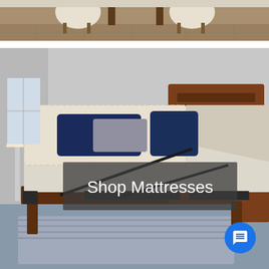[Figure (photo): Top partial photo of a dining room scene with white chairs and dark wood furniture on a stone-patterned floor.]
[Figure (photo): Large photo of a bedroom with an adjustable mattress on a dark wood bed frame, navy blue and grey pillows, white lamp, and blue/grey area rug. A semi-transparent grey overlay banner across the center reads 'Shop Mattresses' in white text.]
Shop Mattresses